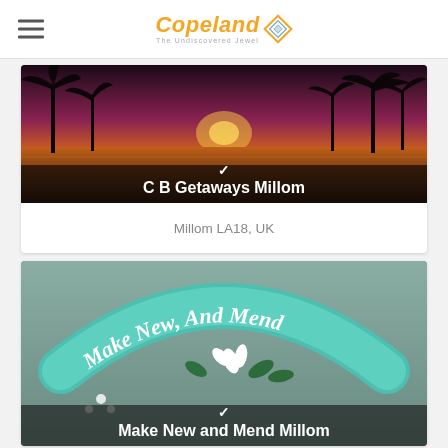Copeland — The Undiscovered Jewel
[Figure (photo): Tropical sunset over water with palm tree silhouettes; card with title CB Getaways Millom]
C B Getaways Millom
Millom LA18, UK
[Figure (photo): Teal arch sign reading Make New And Mend with floral decorations on grey background]
Make New and Mend Millom